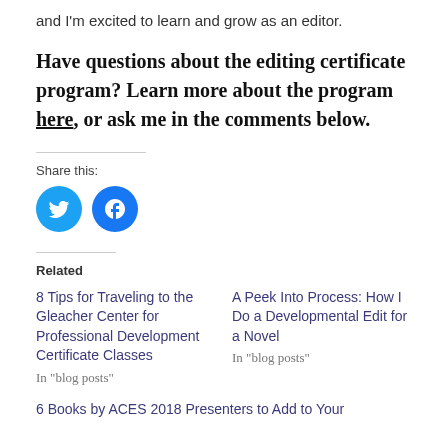and I'm excited to learn and grow as an editor.
Have questions about the editing certificate program? Learn more about the program here, or ask me in the comments below.
Share this:
[Figure (other): Twitter and Facebook social share icon buttons (blue circles with bird and f logo)]
Related
8 Tips for Traveling to the Gleacher Center for Professional Development Certificate Classes
In "blog posts"
A Peek Into Process: How I Do a Developmental Edit for a Novel
In "blog posts"
6 Books by ACES 2018 Presenters to Add to Your